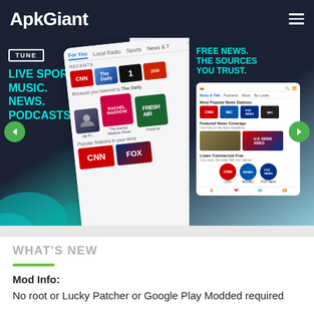ApkGiant
[Figure (screenshot): Carousel of TuneIn Radio app screenshots showing Live Sports, Music, News, Podcasts tagline on left; center phone screen with For You/Local Radio/Sports tabs, station icons (CNN, NPR, etc.), Rachel Maddow Show, Fresh Air shows, popular stations with CNN and FOX; right panel showing Free News The Sources You Trust with phone mockup displaying CNN, MSNBC, FOX News stations.]
WHAT'S NEW
Mod Info:
No root or Lucky Patcher or Google Play Modded required